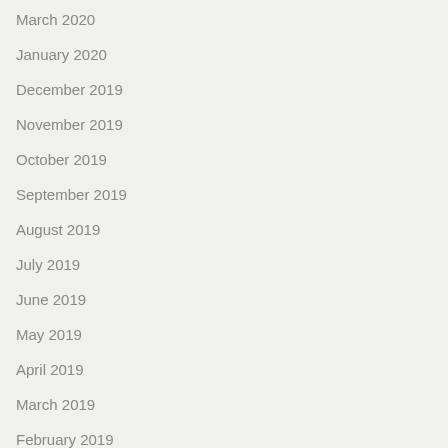March 2020
January 2020
December 2019
November 2019
October 2019
September 2019
August 2019
July 2019
June 2019
May 2019
April 2019
March 2019
February 2019
January 2019